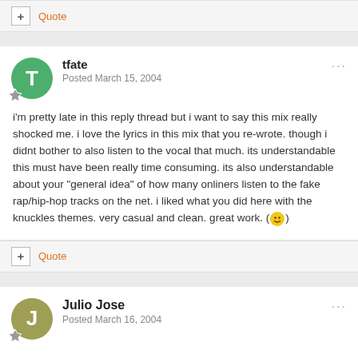+ Quote
tfate
Posted March 15, 2004
i'm pretty late in this reply thread but i want to say this mix really shocked me. i love the lyrics in this mix that you re-wrote. though i didnt bother to also listen to the vocal that much. its understandable this must have been really time consuming. its also understandable about your "general idea" of how many onliners listen to the fake rap/hip-hop tracks on the net. i liked what you did here with the knuckles themes. very casual and clean. great work. (emoji)
+ Quote
Julio Jose
Posted March 16, 2004